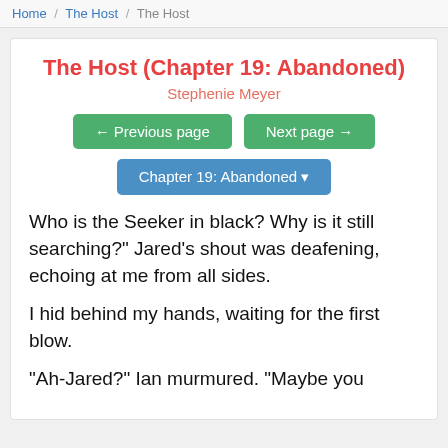Home / The Host / The Host
The Host (Chapter 19: Abandoned)
Stephenie Meyer
← Previous page   Next page →
Chapter 19: Abandoned ▾
Who is the Seeker in black? Why is it still searching?" Jared's shout was deafening, echoing at me from all sides.
I hid behind my hands, waiting for the first blow.
"Ah-Jared?" Ian murmured. "Maybe you